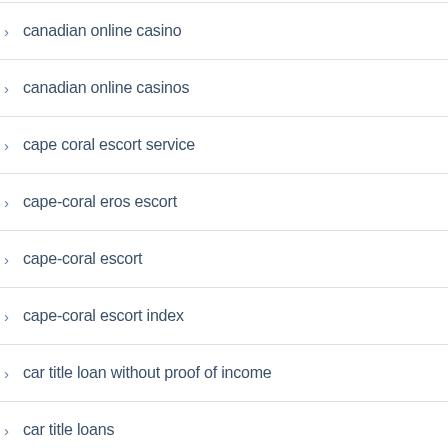canadian online casino
canadian online casinos
cape coral escort service
cape-coral eros escort
cape-coral escort
cape-coral escort index
car title loan without proof of income
car title loans
car title loans completely online
car title loans near me